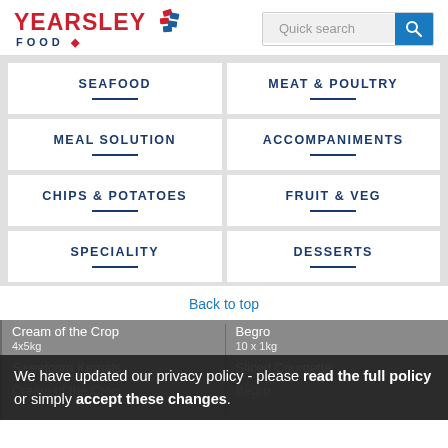[Figure (logo): Yearsley Food logo with red text and diamond graphic]
[Figure (other): Quick search bar with magnifying glass icon]
SEAFOOD
MEAT & POULTRY
MEAL SOLUTION
ACCOMPANIMENTS
CHIPS & POTATOES
FRUIT & VEG
SPECIALITY
DESSERTS
Back to top
Cream of the Crop
Begro
4x5kg
10 x 1kg
Sweetcorn Kernals
Sliced Courgette
Cream of the Crop
Begro
We have updated our privacy policy - please read the full policy or simply accept these changes.